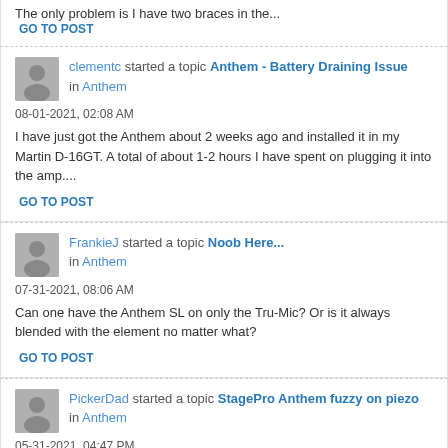The only problem is I have two braces in the...
GO TO POST
clementc started a topic Anthem - Battery Draining Issue in Anthem
08-01-2021, 02:08 AM
I have just got the Anthem about 2 weeks ago and installed it in my Martin D-16GT. A total of about 1-2 hours I have spent on plugging it into the amp....
GO TO POST
FrankieJ started a topic Noob Here... in Anthem
07-31-2021, 08:06 AM
Can one have the Anthem SL on only the Tru-Mic? Or is it always blended with the element no matter what?
GO TO POST
PickerDad started a topic StagePro Anthem fuzzy on piezo in Anthem
05-31-2021, 04:47 PM